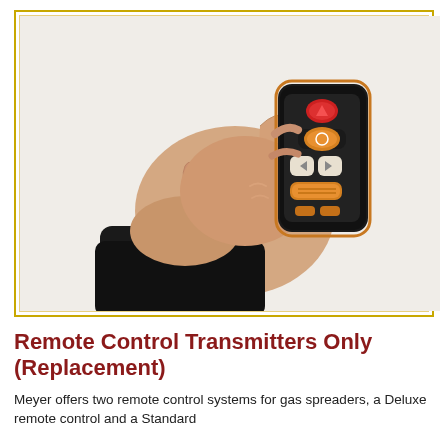[Figure (photo): A hand wearing a black sleeve holding a small remote control transmitter with multiple buttons (red, orange/amber colored) and a yellow wrist strap hanging below.]
Remote Control Transmitters Only (Replacement)
Meyer offers two remote control systems for gas spreaders, a Deluxe remote control and a Standard